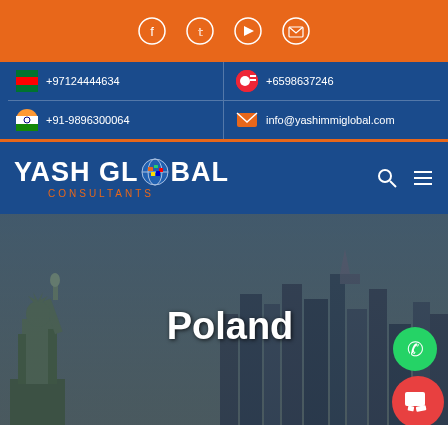[Figure (logo): Orange top bar with social media icons: Facebook, Twitter, YouTube, Email in white circle outlines]
+97124444634
+6598637246
+91-9896300064
info@yashimmiglobal.com
[Figure (logo): Yash Global Consultants logo with globe in white text on blue navigation bar]
Poland
[Figure (photo): Hero image showing Statue of Liberty on the left and city skyline on the right with Poland text overlay, WhatsApp and chat buttons on the right]